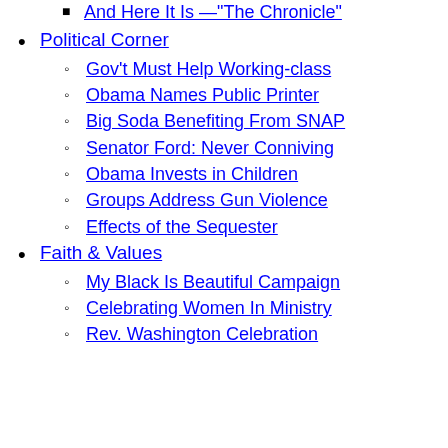And Here It Is—"The Chronicle"
Political Corner
Gov't Must Help Working-class
Obama Names Public Printer
Big Soda Benefiting From SNAP
Senator Ford: Never Conniving
Obama Invests in Children
Groups Address Gun Violence
Effects of the Sequester
Faith & Values
My Black Is Beautiful Campaign
Celebrating Women In Ministry
Rev. Washington Celebration